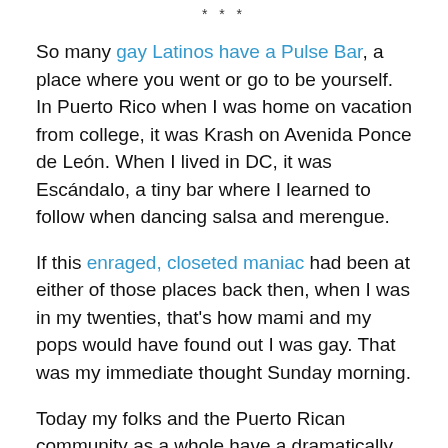* * *
So many gay Latinos have a Pulse Bar, a place where you went or go to be yourself. In Puerto Rico when I was home on vacation from college, it was Krash on Avenida Ponce de León. When I lived in DC, it was Escándalo, a tiny bar where I learned to follow when dancing salsa and merengue.
If this enraged, closeted maniac had been at either of those places back then, when I was in my twenties, that's how mami and my pops would have found out I was gay. That was my immediate thought Sunday morning.
Today my folks and the Puerto Rican community as a whole have a dramatically different relationship to gayness and outness. There is so much more space than when I was growing up, but still–I can't help but wonder if any of